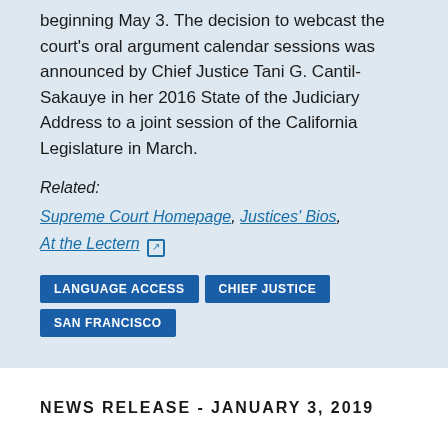beginning May 3. The decision to webcast the court's oral argument calendar sessions was announced by Chief Justice Tani G. Cantil-Sakauye in her 2016 State of the Judiciary Address to a joint session of the California Legislature in March.
Related:
Supreme Court Homepage, Justices' Bios, At the Lectern
LANGUAGE ACCESS  CHIEF JUSTICE  SAN FRANCISCO
NEWS RELEASE - JANUARY 3, 2019